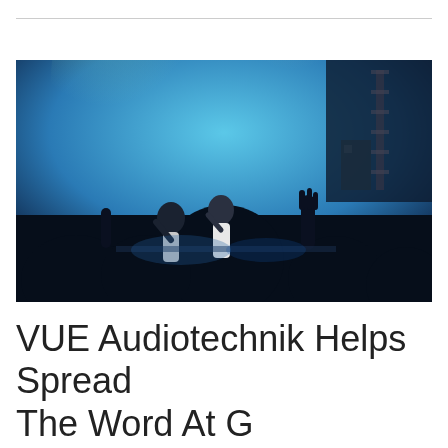[Figure (photo): Concert/worship scene with silhouetted crowd audience with raised hands in front of a stage with performers and blue/green stage lighting and large screen backdrop]
VUE Audiotechnik Helps Spread The Word At Gateway City Church